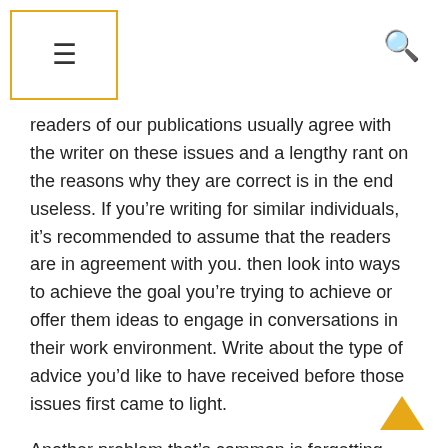≡  🔍
readers of our publications usually agree with the writer on these issues and a lengthy rant on the reasons why they are correct is in the end useless. If you're writing for similar individuals, it's recommended to assume that the readers are in agreement with you. then look into ways to achieve the goal you're trying to achieve or offer them ideas to engage in conversations in their work environment. Write about the type of advice you'd like to have received before those issues first came to light.
Another problem that's common is forgetting what the audience already knows, or does not know. If something is well-known in your field there's no need for an additional explanation. You could link